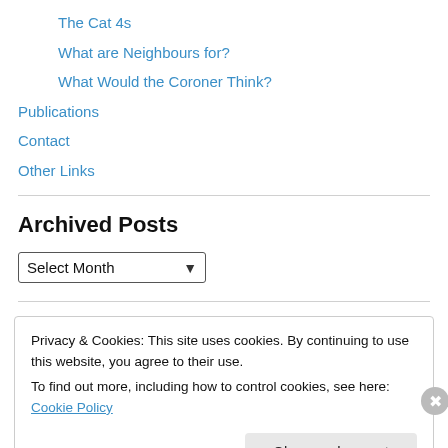The Cat 4s
What are Neighbours for?
What Would the Coroner Think?
Publications
Contact
Other Links
Archived Posts
Select Month
Privacy & Cookies: This site uses cookies. By continuing to use this website, you agree to their use.
To find out more, including how to control cookies, see here: Cookie Policy
Close and accept